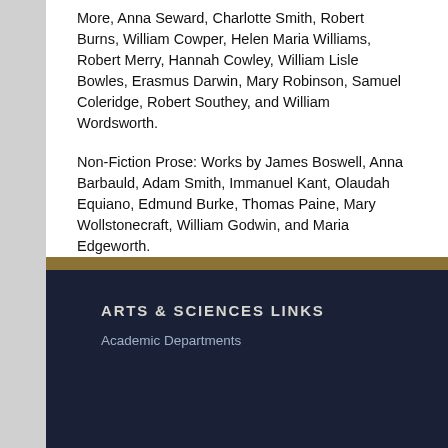More, Anna Seward, Charlotte Smith, Robert Burns, William Cowper, Helen Maria Williams, Robert Merry, Hannah Cowley, William Lisle Bowles, Erasmus Darwin, Mary Robinson, Samuel Coleridge, Robert Southey, and William Wordsworth.
Non-Fiction Prose: Works by James Boswell, Anna Barbauld, Adam Smith, Immanuel Kant, Olaudah Equiano, Edmund Burke, Thomas Paine, Mary Wollstonecraft, William Godwin, and Maria Edgeworth.
There will be a number of responses, an annotated bibliography, and a final essay.
Consult Graduate Chair for requirements.
ARTS & SCIENCES LINKS
Academic Departments